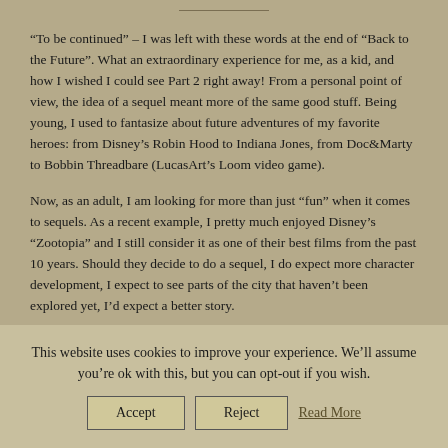“To be continued” – I was left with these words at the end of “Back to the Future”. What an extraordinary experience for me, as a kid, and how I wished I could see Part 2 right away! From a personal point of view, the idea of a sequel meant more of the same good stuff. Being young, I used to fantasize about future adventures of my favorite heroes: from Disney’s Robin Hood to Indiana Jones, from Doc&Marty to Bobbin Threadbare (LucasArt’s Loom video game).
Now, as an adult, I am looking for more than just “fun” when it comes to sequels. As a recent example, I pretty much enjoyed Disney’s “Zootopia” and I still consider it as one of their best films from the past 10 years. Should they decide to do a sequel, I do expect more character development, I expect to see parts of the city that haven’t been explored yet, I’d expect a better story.
This website uses cookies to improve your experience. We’ll assume you’re ok with this, but you can opt-out if you wish.